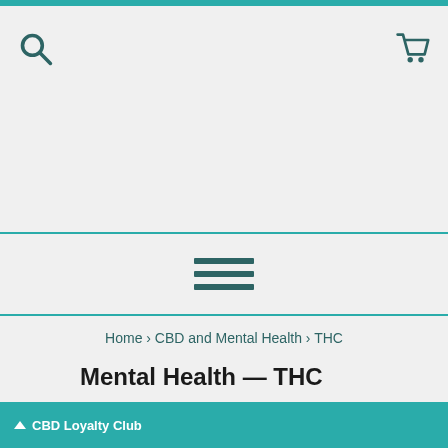[Figure (other): Navigation header with search icon (magnifying glass) on left and shopping cart icon on right, teal colored on light gray background]
[Figure (other): Hamburger menu icon with three horizontal teal lines, centered between two teal horizontal divider lines]
Home › CBD and Mental Health › THC
All Category +
CBD and Mental Health — THC
CBD Loyalty Club